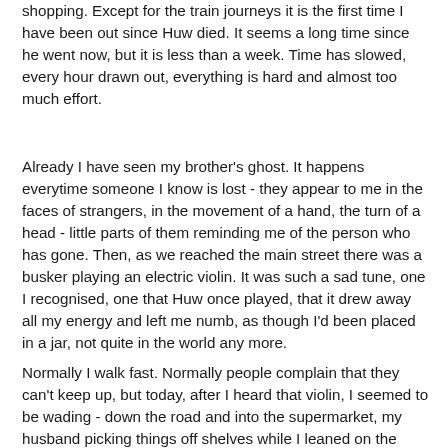shopping. Except for the train journeys it is the first time I have been out since Huw died. It seems a long time since he went now, but it is less than a week. Time has slowed, every hour drawn out, everything is hard and almost too much effort.
Already I have seen my brother's ghost. It happens everytime someone I know is lost - they appear to me in the faces of strangers, in the movement of a hand, the turn of a head - little parts of them reminding me of the person who has gone. Then, as we reached the main street there was a busker playing an electric violin. It was such a sad tune, one I recognised, one that Huw once played, that it drew away all my energy and left me numb, as though I'd been placed in a jar, not quite in the world any more.
Normally I walk fast. Normally people complain that they can't keep up, but today, after I heard that violin, I seemed to be wading - down the road and into the supermarket, my husband picking things off shelves while I leaned on the handles too tired to care. He says it is shock, quite normal, but I hate being like this. Everyone is telling me to stop and